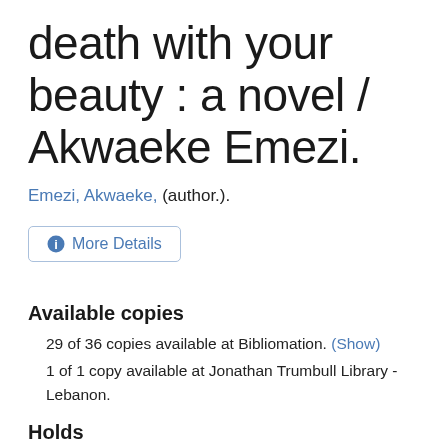death with your beauty : a novel / Akwaeke Emezi.
Emezi, Akwaeke, (author.).
[Figure (other): More Details button with info icon]
Available copies
29 of 36 copies available at Bibliomation. (Show)
1 of 1 copy available at Jonathan Trumbull Library - Lebanon.
Holds
3 current holds with 36 total copies.